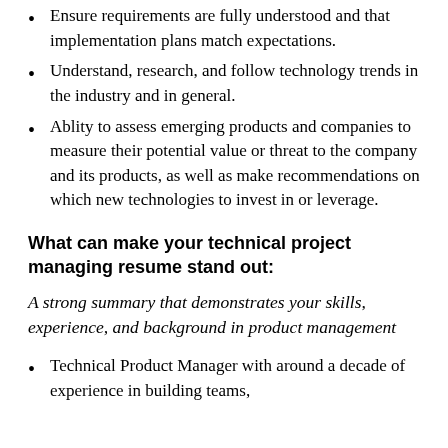Ensure requirements are fully understood and that implementation plans match expectations.
Understand, research, and follow technology trends in the industry and in general.
Ablity to assess emerging products and companies to measure their potential value or threat to the company and its products, as well as make recommendations on which new technologies to invest in or leverage.
What can make your technical project managing resume stand out:
A strong summary that demonstrates your skills, experience, and background in product management
Technical Product Manager with around a decade of experience in building teams,